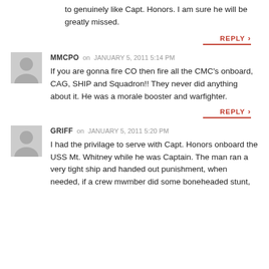to genuinely like Capt. Honors. I am sure he will be greatly missed.
REPLY
MMCPO on JANUARY 5, 2011 5:14 PM
If you are gonna fire CO then fire all the CMC's onboard, CAG, SHIP and Squadron!! They never did anything about it. He was a morale booster and warfighter.
REPLY
GRIFF on JANUARY 5, 2011 5:20 PM
I had the privilage to serve with Capt. Honors onboard the USS Mt. Whitney while he was Captain. The man ran a very tight ship and handed out punishment, when needed, if a crew mwmber did some boneheaded stunt,